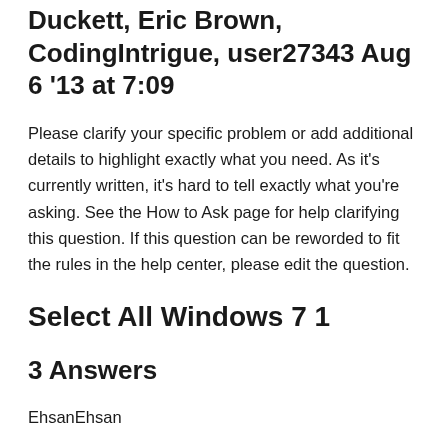Duckett, Eric Brown, CodingIntrigue, user27343 Aug 6 '13 at 7:09
Please clarify your specific problem or add additional details to highlight exactly what you need. As it's currently written, it's hard to tell exactly what you're asking. See the How to Ask page for help clarifying this question. If this question can be reworded to fit the rules in the help center, please edit the question.
Select All Windows 7 1
3 Answers
EhsanEhsan